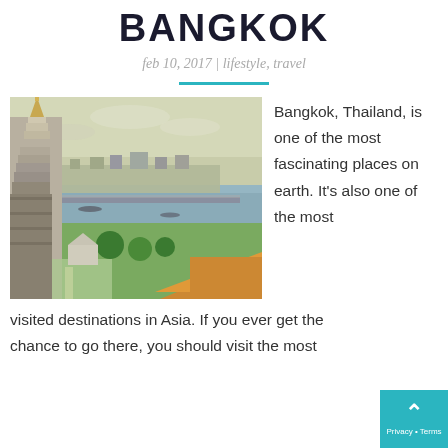BANGKOK
feb 10, 2017 | lifestyle, travel
[Figure (photo): Aerial view of Bangkok, Thailand, showing Wat Arun temple/pagoda on the left, the Chao Phraya River in the background with bridges, and ornate temple rooftops in the foreground with greenery.]
Bangkok, Thailand, is one of the most fascinating places on earth. It’s also one of the most visited destinations in Asia. If you ever get the chance to go there, you should visit the most